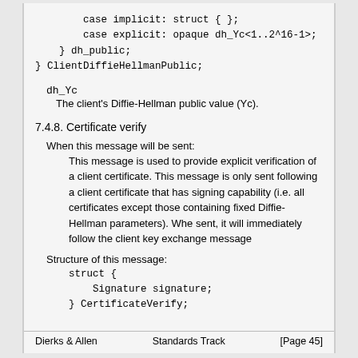case implicit: struct { };
case explicit: opaque dh_Yc<1..2^16-1>;
} dh_public;
} ClientDiffieHellmanPublic;
dh_Yc
The client's Diffie-Hellman public value (Yc).
7.4.8. Certificate verify
When this message will be sent:
This message is used to provide explicit verification of a client certificate. This message is only sent following a client certificate that has signing capability (i.e. all certificates except those containing fixed Diffie-Hellman parameters). Whe sent, it will immediately follow the client key exchange message
Structure of this message:
struct {
    Signature signature;
} CertificateVerify;
Dierks & Allen                  Standards Track                  [Page 45]